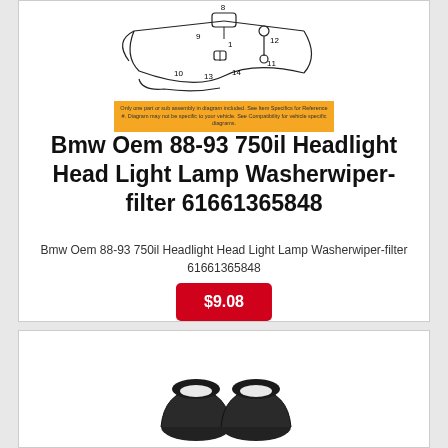[Figure (schematic): Automotive headlight washer system parts diagram with numbered components (1, 8, 9, 10, 11, 12, 13, 14) showing hoses, connectors, and fittings with an orange warning notice below.]
Only one part or sub assembly in diagram included. See Item Specifics for Reference #. Diagram may not be specific to your vehicle. See Compatibility for vehicle specific diagrams.
Bmw Oem 88-93 750il Headlight Head Light Lamp Washerwiper-filter 61661365848
Bmw Oem 88-93 750il Headlight Head Light Lamp Washerwiper-filter 61661365848
$9.08
[Figure (photo): Two black headlight washer covers/caps side by side, showing a pair of replacement parts.]